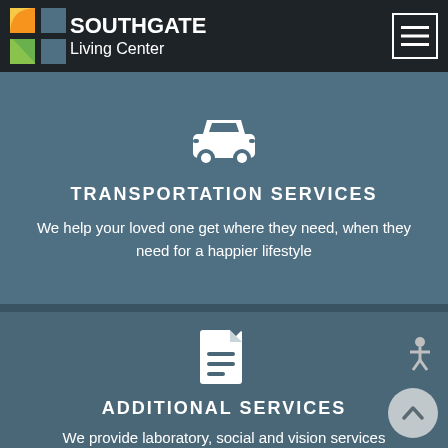SOUTHGATE Living Center
[Figure (illustration): Car/transportation icon in white]
TRANSPORTATION SERVICES
We help your loved one get where they need, when they need for a happier lifestyle
[Figure (illustration): Document/file icon in white]
ADDITIONAL SERVICES
We provide laboratory, social and vision services along with custom nutritional programs
[Figure (illustration): Accessibility person icon]
[Figure (illustration): Scroll to top arrow button]